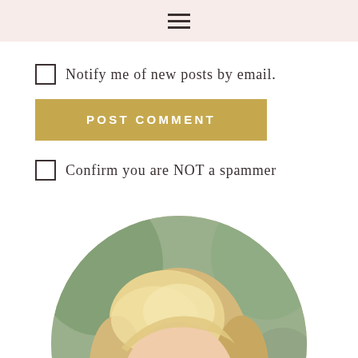≡ (hamburger menu icon)
Notify me of new posts by email.
POST COMMENT
Confirm you are NOT a spammer
[Figure (photo): Circular portrait photo of a smiling blonde woman with a short bob haircut, outdoors with blurred background.]